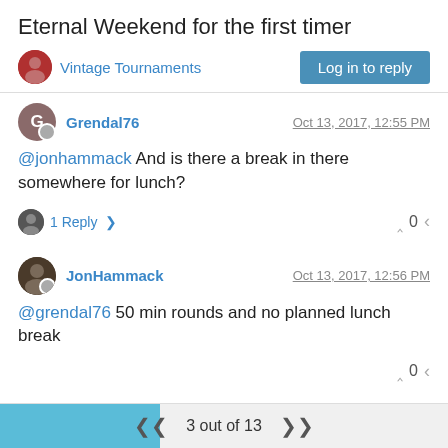Eternal Weekend for the first timer
Vintage Tournaments
Log in to reply
Grendal76    Oct 13, 2017, 12:55 PM
@jonhammack And is there a break in there somewhere for lunch?
1 Reply   0
JonHammack    Oct 13, 2017, 12:56 PM
@grendal76 50 min rounds and no planned lunch break
0
3 out of 13